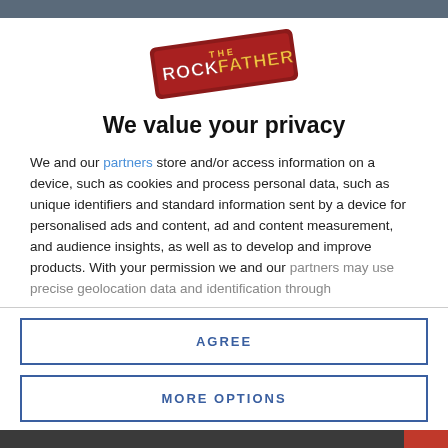[Figure (logo): The Rock Father logo — stylized comic-book style text in red and gold on a diagonal badge]
We value your privacy
We and our partners store and/or access information on a device, such as cookies and process personal data, such as unique identifiers and standard information sent by a device for personalised ads and content, ad and content measurement, and audience insights, as well as to develop and improve products. With your permission we and our partners may use precise geolocation data and identification through
AGREE
MORE OPTIONS
DISAGREE